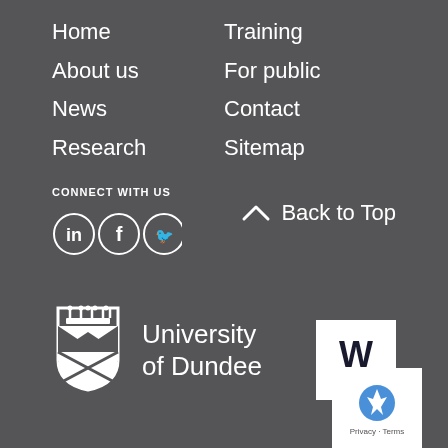Home
About us
News
Research
Training
For public
Contact
Sitemap
CONNECT WITH US
[Figure (illustration): Social media icons: LinkedIn, Facebook, Twitter in white circles]
Back to Top
[Figure (logo): University of Dundee shield logo with crown and chevron design]
University of Dundee
[Figure (logo): Wellcome Trust logo - white W on white background with 'wellcome' text]
[Figure (other): reCAPTCHA widget with Privacy and Terms text]